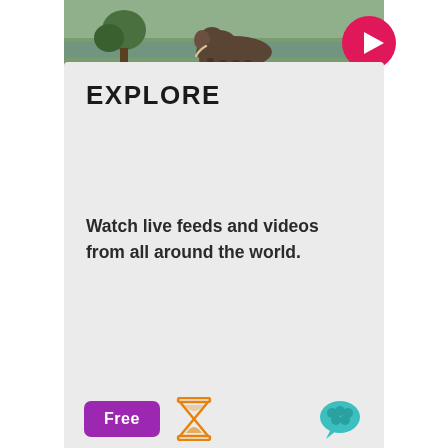[Figure (photo): Elephant wading in water, viewed from above, nature scene with green and brown tones]
[Figure (illustration): Pink/magenta circular play button icon with white triangle in center]
EXPLORE
Watch live feeds and videos from all around the world.
[Figure (illustration): Purple 'Free' badge label, orange hourglass icon, teal speech bubble / brain icon]